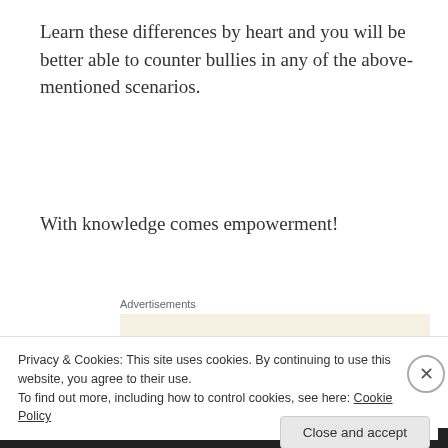Learn these differences by heart and you will be better able to counter bullies in any of the above-mentioned scenarios.
With knowledge comes empowerment!
Advertisements
[Figure (screenshot): Advertisement banner with beige background showing text: 'Professionally designed sites in less than a week']
Privacy & Cookies: This site uses cookies. By continuing to use this website, you agree to their use.
To find out more, including how to control cookies, see here: Cookie Policy
Close and accept